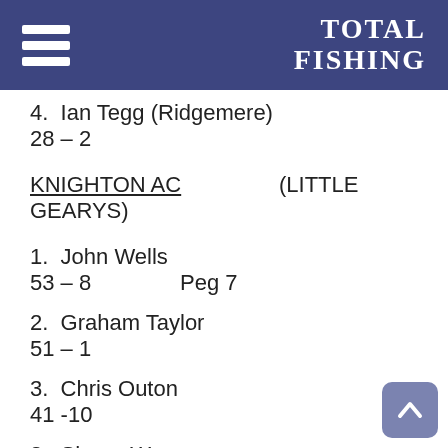TOTAL FISHING
4.  Ian Tegg (Ridgemere)
28 – 2
KNIGHTON AC (LITTLE GEARYS)
1.  John Wells
53 – 8   Peg 7
2.  Graham Taylor
51 – 1
3.  Chris Outon
41 -10
3.  Shane Warner